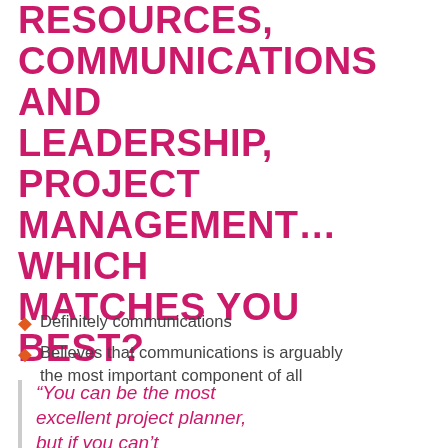RESOURCES, COMMUNICATIONS AND LEADERSHIP, PROJECT MANAGEMENT… WHICH MATCHES YOU BEST?
Definitely communications
Believes that communications is arguably the most important component of all
“You can be the most excellent project planner, but if you can’t communicate those things